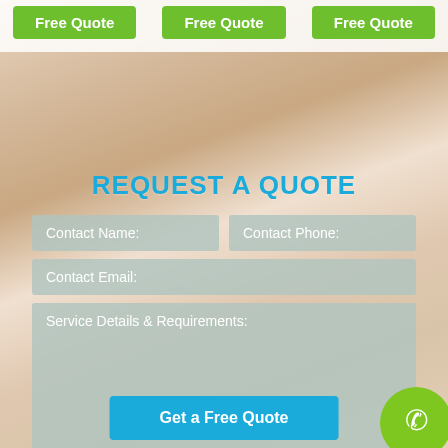Free Quote | Free Quote | Free Quote
REQUEST A QUOTE
Contact Name:
Contact Phone:
Contact Email:
Service Details & Requirements:
Get a Free Quote